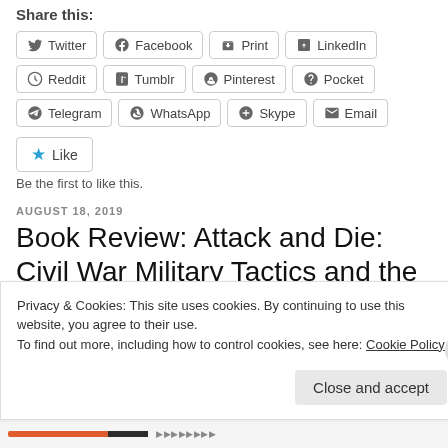Share this:
Twitter
Facebook
Print
LinkedIn
Reddit
Tumblr
Pinterest
Pocket
Telegram
WhatsApp
Skype
Email
Like
Be the first to like this.
AUGUST 18, 2019
Book Review: Attack and Die: Civil War Military Tactics and the Southern Heritage by Grady McWhiney and Perry
Privacy & Cookies: This site uses cookies. By continuing to use this website, you agree to their use.
To find out more, including how to control cookies, see here: Cookie Policy
Close and accept